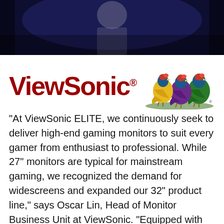[Figure (photo): Dark blue background photo showing a person (partially visible, blurred) against a dark stage-like background]
[Figure (logo): ViewSonic logo in dark red with registered trademark symbol, accompanied by three colorful Gouldian finch birds (blue, purple, green with red heads) on the right]
“At ViewSonic ELITE, we continuously seek to deliver high-end gaming monitors to suit every gamer from enthusiast to professional. While 27” monitors are typical for mainstream gaming, we recognized the demand for widescreens and expanded our 32” product line,” says Oscar Lin, Head of Monitor Business Unit at ViewSonic. “Equipped with cutting-edge technologies to revolutionize the way gamers see, play, and experience games, the ELITE 32” monitor series deliver an immersive viewing experience alongside ultra-smooth gameplay and incredible color